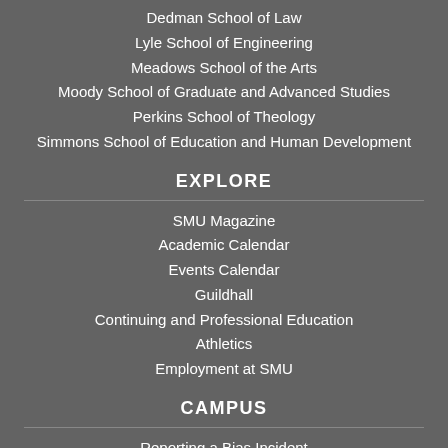Dedman School of Law
Lyle School of Engineering
Meadows School of the Arts
Moody School of Graduate and Advanced Studies
Perkins School of Theology
Simmons School of Education and Human Development
EXPLORE
SMU Magazine
Academic Calendar
Events Calendar
Guildhall
Continuing and Professional Education
Athletics
Employment at SMU
CAMPUS
Reporting a Bias Incident